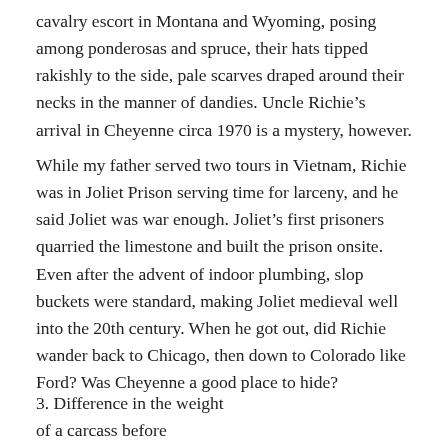cavalry escort in Montana and Wyoming, posing among ponderosas and spruce, their hats tipped rakishly to the side, pale scarves draped around their necks in the manner of dandies. Uncle Richie's arrival in Cheyenne circa 1970 is a mystery, however.
While my father served two tours in Vietnam, Richie was in Joliet Prison serving time for larceny, and he said Joliet was war enough. Joliet's first prisoners quarried the limestone and built the prison onsite. Even after the advent of indoor plumbing, slop buckets were standard, making Joliet medieval well into the 20th century. When he got out, did Richie wander back to Chicago, then down to Colorado like Ford? Was Cheyenne a good place to hide?
3. Difference in the weight of a carcass before